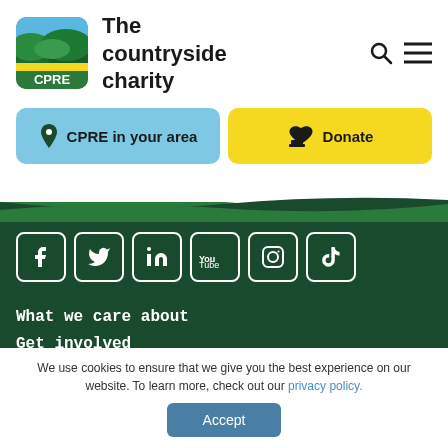[Figure (logo): CPRE logo — green rounded square with landscape hills and yellow stripe, 'CPRE' text at bottom]
The countryside charity
CPRE in your area
Donate
[Figure (illustration): Social media icons row: Facebook, Twitter, LinkedIn, YouTube, Instagram, TikTok — white outlined boxes on dark green background]
What we care about
Get involved
Discover our countryside
About us
We use cookies to ensure that we give you the best experience on our website. To learn more, check out our privacy policy.
Accept